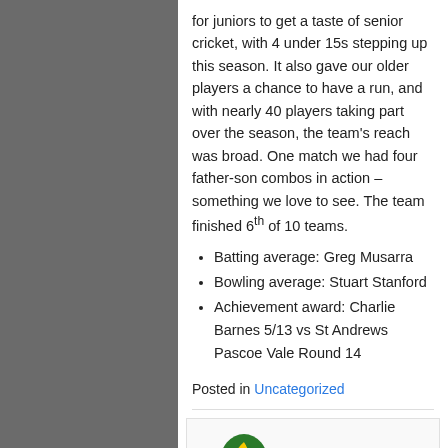for juniors to get a taste of senior cricket, with 4 under 15s stepping up this season. It also gave our older players a chance to have a run, and with nearly 40 players taking part over the season, the team's reach was broad. One match we had four father-son combos in action – something we love to see. The team finished 6th of 10 teams.
Batting average: Greg Musarra
Bowling average: Stuart Stanford
Achievement award: Charlie Barnes 5/13 vs St Andrews Pascoe Vale Round 14
Posted in Uncategorized
[Figure (logo): Cricket club logo (green and gold) alongside bold AGM text]